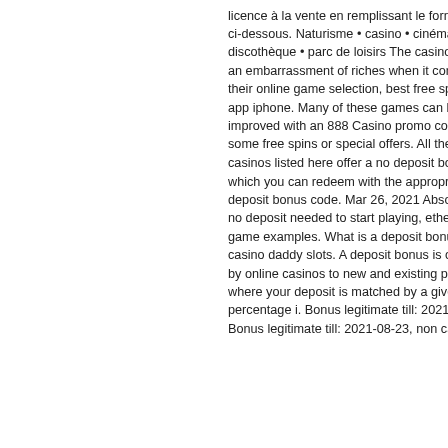licence à la vente en remplissant le formulaire ci-dessous. Naturisme • casino • cinéma • discothèque • parc de loisirs The casino boasts an embarrassment of riches when it comes to their online game selection, best free spinning app iphone. Many of these games can be improved with an 888 Casino promo code and some free spins or special offers. All the online casinos listed here offer a no deposit bonus which you can redeem with the appropriate no deposit bonus code. Mar 26, 2021 Absolutely no deposit needed to start playing, ethereum game examples. What is a deposit bonus, casino daddy slots. A deposit bonus is offered by online casinos to new and existing players where your deposit is matched by a given percentage i. Bonus legitimate till: 2021-08-23. Bonus legitimate till: 2021-08-23, non casino